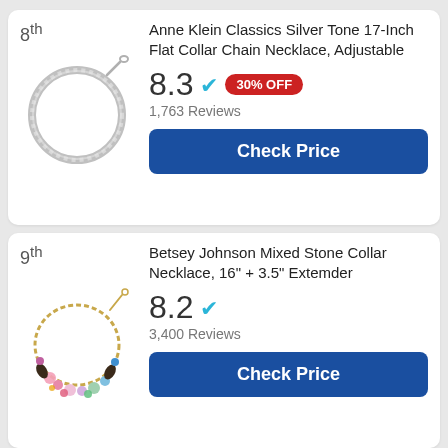8th
[Figure (photo): Silver flat collar chain necklace, circular display]
Anne Klein Classics Silver Tone 17-Inch Flat Collar Chain Necklace, Adjustable
8.3 ✓ 30% OFF
1,763 Reviews
Check Price
9th
[Figure (photo): Betsey Johnson colorful mixed stone collar necklace with floral/leaf gems on gold chain]
Betsey Johnson Mixed Stone Collar Necklace, 16" + 3.5" Extemder
8.2 ✓
3,400 Reviews
Check Price